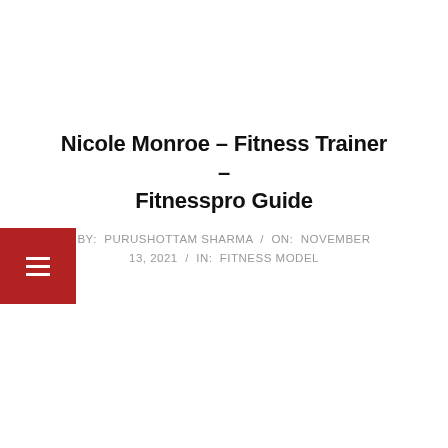Nicole Monroe – Fitness Trainer – Fitnesspro Guide
BY: PURUSHOTTAM SHARMA / ON: NOVEMBER 13, 2021 / IN: FITNESS MODEL